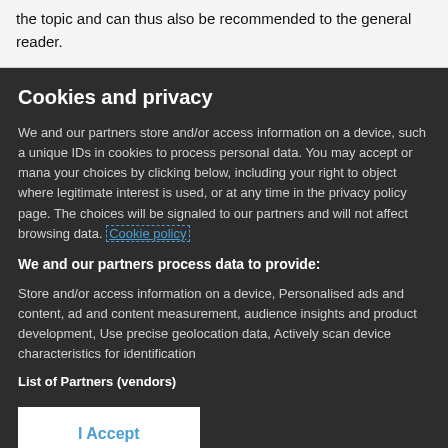the topic and can thus also be recommended to the general reader.
Cookies and privacy
We and our partners store and/or access information on a device, such a unique IDs in cookies to process personal data. You may accept or mana your choices by clicking below, including your right to object where legitimate interest is used, or at any time in the privacy policy page. The choices will be signaled to our partners and will not affect browsing data. Cookie policy
We and our partners process data to provide:
Store and/or access information on a device, Personalised ads and content, ad and content measurement, audience insights and product development, Use precise geolocation data, Actively scan device characteristics for identification
List of Partners (vendors)
I Accept